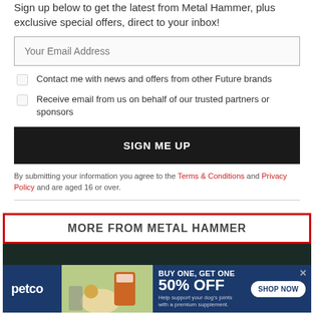Sign up below to get the latest from Metal Hammer, plus exclusive special offers, direct to your inbox!
Your Email Address
Contact me with news and offers from other Future brands
Receive email from us on behalf of our trusted partners or sponsors
SIGN ME UP
By submitting your information you agree to the Terms & Conditions and Privacy Policy and are aged 16 or over.
MORE FROM METAL HAMMER
[Figure (photo): Dark background band with partial image]
[Figure (infographic): Petco advertisement banner: BUY ONE, GET ONE 50% OFF - Help support your dog's joints with a premium supplement. SHOP NOW button. Shows woman with golden retriever dog and supplement product.]